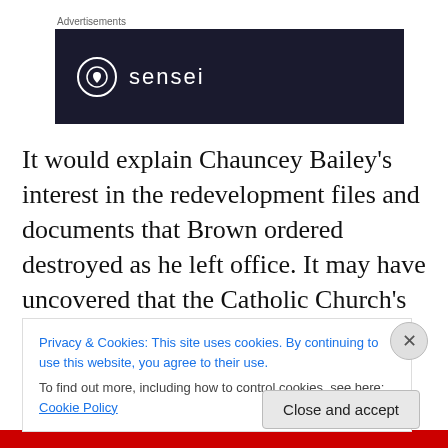Advertisements
[Figure (logo): Sensei brand advertisement banner — dark navy background with white circle logo containing a tree icon and the word 'sensei' in white lowercase letters]
It would explain Chauncey Bailey's interest in the redevelopment files and documents that Brown ordered destroyed as he left office. It may have uncovered that the Catholic Church's grand Cathedral of Light on Lakeshore Avenue (California Tidelands Act) was illegally built on
Privacy & Cookies: This site uses cookies. By continuing to use this website, you agree to their use.
To find out more, including how to control cookies, see here: Cookie Policy